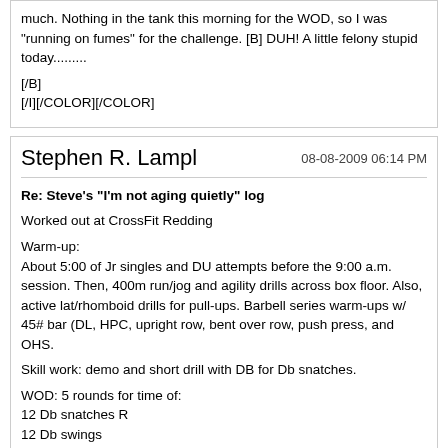much. Nothing in the tank this morning for the WOD, so I was "running on fumes" for the challenge. [B] DUH! A little felony stupid today......... [/B]
[/I][/COLOR][/COLOR]
Stephen R. Lampl
08-08-2009 06:14 PM
Re: Steve's "I'm not aging quietly" log
Worked out at CrossFit Redding
Warm-up:
About 5:00 of Jr singles and DU attempts before the 9:00 a.m. session. Then, 400m run/jog and agility drills across box floor. Also, active lat/rhomboid drills for pull-ups. Barbell series warm-ups w/ 45# bar (DL, HPC, upright row, bent over row, push press, and OHS.
Skill work: demo and short drill with DB for Db snatches.
WOD: 5 rounds for time of:
12 Db snatches R
12 Db swings
12 Db snatches L
12 push-ups
1 run around building (approx 25 yds).
TIME: 10:01 (20# Db). 1st time with Db snatches for me.....
Then...1 hour active stretching "class" with Kevin.